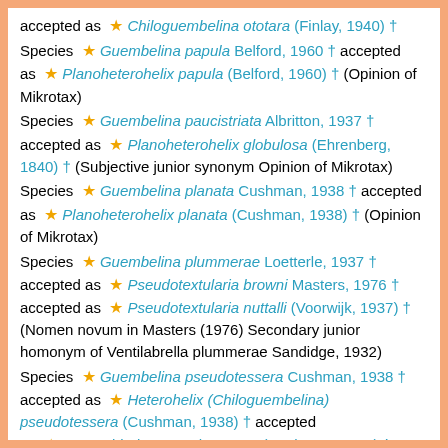accepted as ★ Chiloguembelina ototara (Finlay, 1940) †
Species ★ Guembelina papula Belford, 1960 † accepted as ★ Planoheterohelix papula (Belford, 1960) † (Opinion of Mikrotax)
Species ★ Guembelina paucistriata Albritton, 1937 † accepted as ★ Planoheterohelix globulosa (Ehrenberg, 1840) † (Subjective junior synonym Opinion of Mikrotax)
Species ★ Guembelina planata Cushman, 1938 † accepted as ★ Planoheterohelix planata (Cushman, 1938) † (Opinion of Mikrotax)
Species ★ Guembelina plummerae Loetterle, 1937 † accepted as ★ Pseudotextularia browni Masters, 1976 † accepted as ★ Pseudotextularia nuttalli (Voorwijk, 1937) † (Nomen novum in Masters (1976) Secondary junior homonym of Ventilabrella plummerae Sandidge, 1932)
Species ★ Guembelina pseudotessera Cushman, 1938 † accepted as ★ Heterohelix (Chiloguembelina) pseudotessera (Cushman, 1938) † accepted as ★ Praegublerina pseudotessera (Cushman, 1938) † (Opinion of